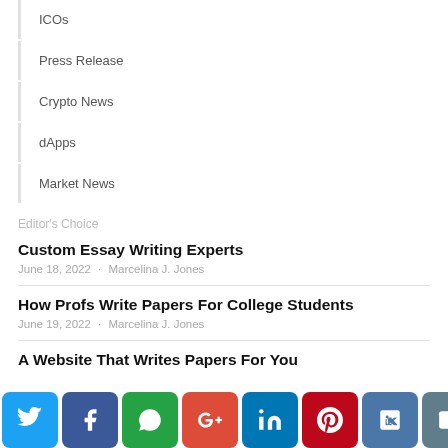ICOs
Press Release
Crypto News
dApps
Market News
Editor's Choice
Custom Essay Writing Experts
June 18, 2022  ·  Marcelina J. Jones
How Profs Write Papers For College Students
June 19, 2022  ·  Marcelina J. Jones
A Website That Writes Papers For You
[Figure (infographic): Social sharing bar with icons for Twitter, Facebook, WhatsApp, Google+, LinkedIn, Pinterest, VK, Email, scroll-to-top, and a partial red button]